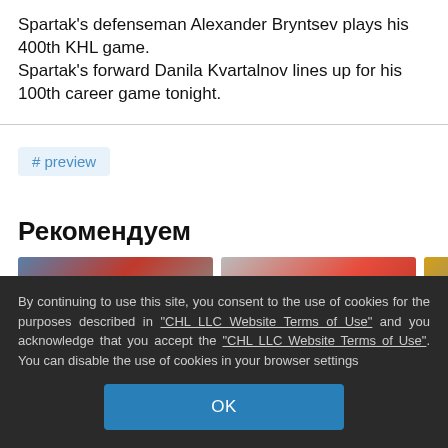Spartak's defenseman Alexander Bryntsev plays his 400th KHL game.
Spartak's forward Danila Kvartalnov lines up for his 100th career game tonight.
# preview
Рекомендуем
[Figure (photo): Three partially visible thumbnail images in a horizontal row]
By continuing to use this site, you consent to the use of cookies for the purposes described in "CHL LLC Website Terms of Use" and you acknowledge that you accept the "CHL LLC Website Terms of Use". You can disable the use of cookies in your browser settings
OK